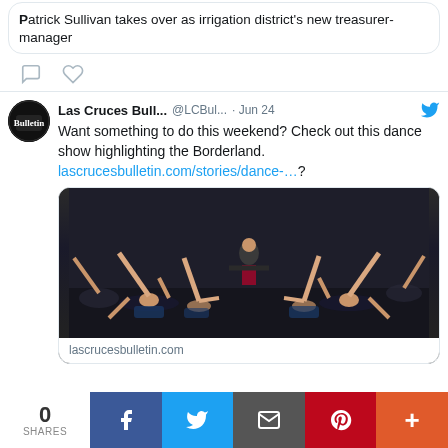Patrick Sullivan takes over as irrigation district's new treasurer-manager
[Figure (screenshot): Tweet icons: comment bubble and heart (like) outline icons]
Las Cruces Bull... @LCBul... · Jun 24
Want something to do this weekend? Check out this dance show highlighting the Borderland. lascrucesbulletin.com/stories/dance-...?
[Figure (photo): Group of female dancers posed dramatically on a dark background, some lying on the floor with legs raised, one standing in center wearing red skirt]
lascrucesbulletin.com
0 SHARES | Facebook | Twitter | Email | Pinterest | More